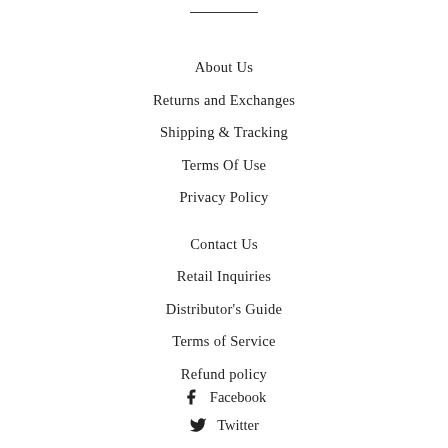About Us
Returns and Exchanges
Shipping & Tracking
Terms Of Use
Privacy Policy
Contact Us
Retail Inquiries
Distributor's Guide
Terms of Service
Refund policy
Facebook
Twitter